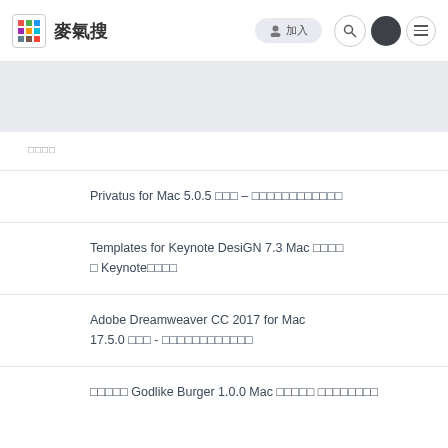麥氣搜
□□□□
Privatus for Mac 5.0.5 □□□ – □□□□□□□□□□□□
Templates for Keynote DesiGN 7.3 Mac □□□□ □ Keynote□□□□
Adobe Dreamweaver CC 2017 for Mac 17.5.0 □□□ - □□□□□□□□□□□□
□□□□□ Godlike Burger 1.0.0 Mac □□□□□ □□□□□□□□